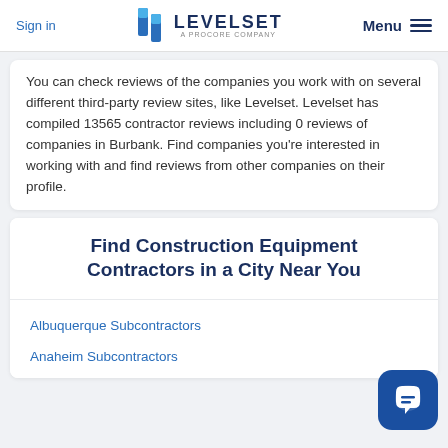Sign in | LEVELSET A PROCORE COMPANY | Menu
You can check reviews of the companies you work with on several different third-party review sites, like Levelset. Levelset has compiled 13565 contractor reviews including 0 reviews of companies in Burbank. Find companies you're interested in working with and find reviews from other companies on their profile.
Find Construction Equipment Contractors in a City Near You
Albuquerque Subcontractors
Anaheim Subcontractors